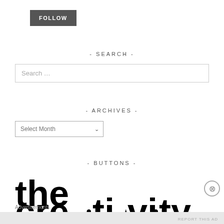FOLLOW
- SEARCH -
Search …
- ARCHIVES -
Select Month
- BUTTONS -
[Figure (logo): Large bold text logo reading 'the creativity' with decorative icons, partially cropped]
Advertisements
REPORT THIS AD